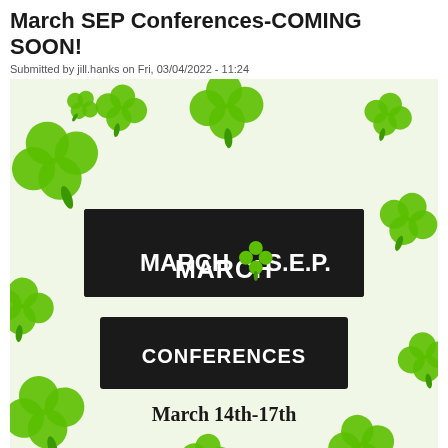March SEP Conferences-COMING SOON!
Submitted by jill.hanks on Fri, 03/04/2022 - 11:24
[Figure (illustration): St. Patrick's Day themed promotional flyer with green shamrocks/clovers on a light green background. Two black banner rectangles read 'MARCH S.E.P.' and 'CONFERENCES' in bold white uppercase letters, with a green four-leaf clover emoji between MARCH and S.E.P. Below the banners it reads 'March 14th-17th' in bold serif font.]